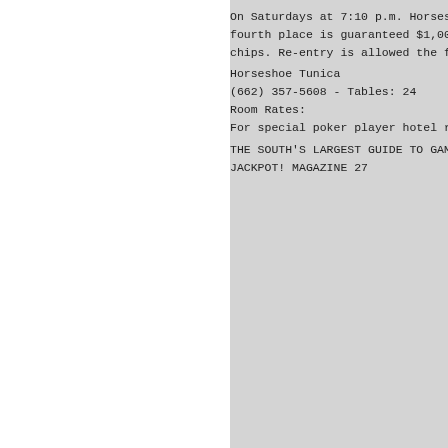On Saturdays at 7:10 p.m. Horseshoe hosts t fourth place is guaranteed $1,000 each. It chips. Re-entry is allowed the first four l
Horseshoe Tunica
(662) 357-5608 - Tables: 24
Room Rates:
For special poker player hotel rates, call
THE SOUTH'S LARGEST GUIDE TO GAMING & FUN •
JACKPOT! MAGAZINE 27